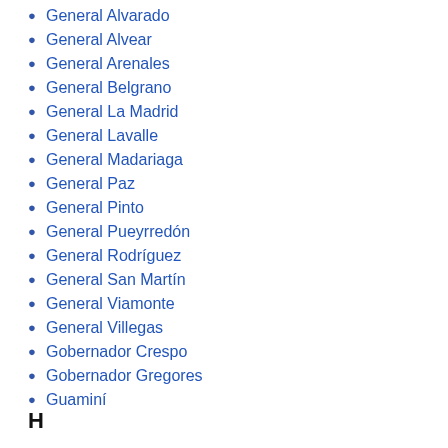General Alvarado
General Alvear
General Arenales
General Belgrano
General La Madrid
General Lavalle
General Madariaga
General Paz
General Pinto
General Pueyrredón
General Rodríguez
General San Martín
General Viamonte
General Villegas
Gobernador Crespo
Gobernador Gregores
Guaminí
H